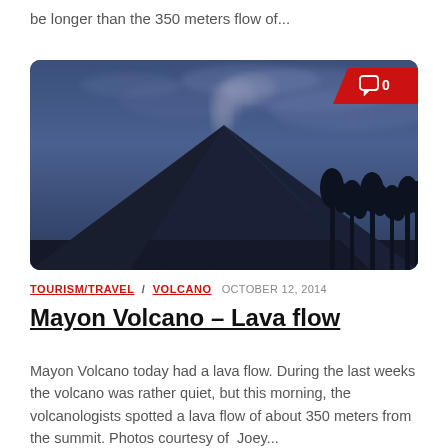be longer than the 350 meters flow of...
[Figure (photo): Mayon Volcano at dusk/dawn with smoke rising from the summit, silhouetted trees in foreground, blue-purple sky with clouds. Red comment badge with '0' in top-right corner of the image card.]
TOURISM/TRAVEL / VOLCANO  OCTOBER 12, 2014
Mayon Volcano – Lava flow
Mayon Volcano today had a lava flow. During the last weeks the volcano was rather quiet, but this morning, the volcanologists spotted a lava flow of about 350 meters from the summit. Photos courtesy of  Joey...